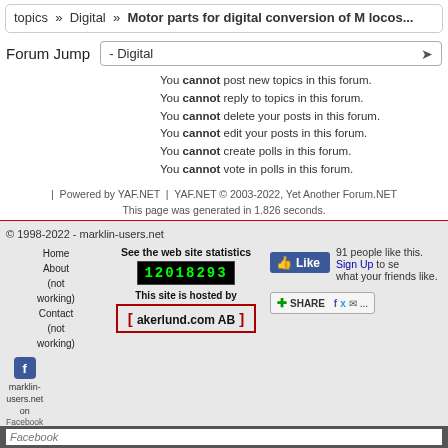topics » Digital » Motor parts for digital conversion of M locos...
Forum Jump  - Digital
You cannot post new topics in this forum.
You cannot reply to topics in this forum.
You cannot delete your posts in this forum.
You cannot edit your posts in this forum.
You cannot create polls in this forum.
You cannot vote in polls in this forum.
| Powered by YAF.NET | YAF.NET © 2003-2022, Yet Another Forum.NET
This page was generated in 1.826 seconds.
© 1998-2022 - marklin-users.net
Home
About (not working)
Contact (not working)
See the web site statistics
12018293
This site is hosted by
[ akerlund.com AB ]
91 people like this. Sign Up to see what your friends like.
marklin-users.net on Facebook